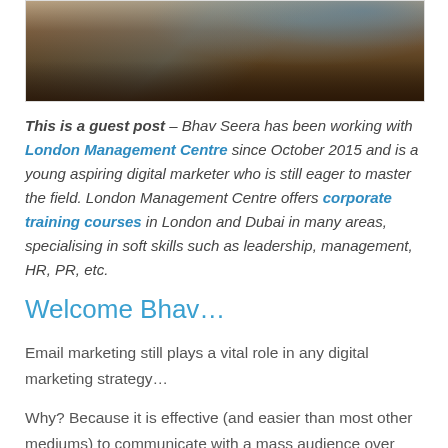[Figure (photo): Dark photograph showing wooden fence posts or logs with a blue/grey geometric shape visible in the upper area, outdoor setting]
This is a guest post – Bhav Seera has been working with London Management Centre since October 2015 and is a young aspiring digital marketer who is still eager to master the field. London Management Centre offers corporate training courses in London and Dubai in many areas, specialising in soft skills such as leadership, management, HR, PR, etc.
Welcome Bhav…
Email marketing still plays a vital role in any digital marketing strategy…
Why? Because it is effective (and easier than most other mediums) to communicate with a mass audience over email…